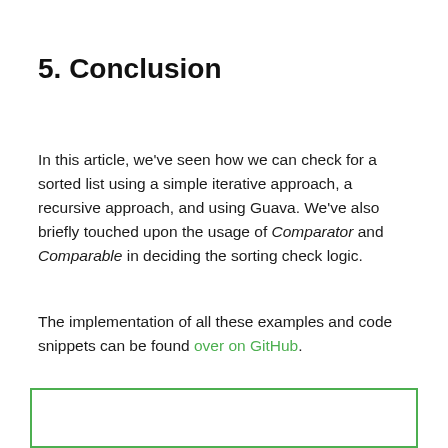5. Conclusion
In this article, we've seen how we can check for a sorted list using a simple iterative approach, a recursive approach, and using Guava. We've also briefly touched upon the usage of Comparator and Comparable in deciding the sorting check logic.
The implementation of all these examples and code snippets can be found over on GitHub.